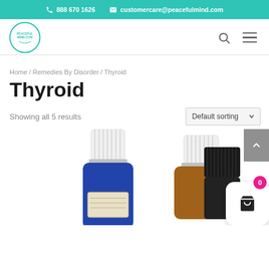888 670 1626  customercare@peacefulmind.com
[Figure (logo): Peaceful Mind .com circular logo in teal/blue]
Home / Remedies By Disorder / Thyroid
Thyroid
Showing all 5 results
Default sorting
[Figure (photo): Three essential oil bottles: blue glass bottle with white cap, amber glass bottle with white cap, and black bottle with ribbed cap, partially visible]